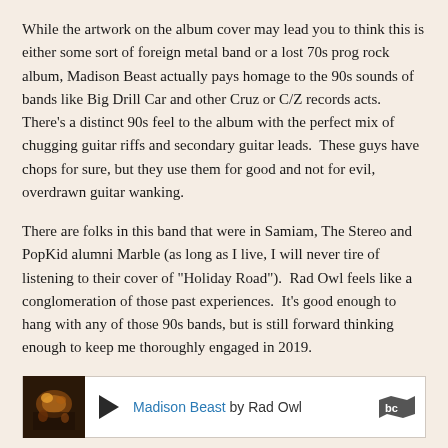While the artwork on the album cover may lead you to think this is either some sort of foreign metal band or a lost 70s prog rock album, Madison Beast actually pays homage to the 90s sounds of bands like Big Drill Car and other Cruz or C/Z records acts. There's a distinct 90s feel to the album with the perfect mix of chugging guitar riffs and secondary guitar leads.  These guys have chops for sure, but they use them for good and not for evil, overdrawn guitar wanking.
There are folks in this band that were in Samiam, The Stereo and PopKid alumni Marble (as long as I live, I will never tire of listening to their cover of "Holiday Road").  Rad Owl feels like a conglomeration of those past experiences.  It's good enough to hang with any of those 90s bands, but is still forward thinking enough to keep me thoroughly engaged in 2019.
Rad Owl - Madison Beast:
https://radowl.bandcamp.com/album/madison-beast
[Figure (other): Bandcamp music player widget showing Madison Beast by Rad Owl, with album thumbnail, play button, track title link, and Bandcamp logo]